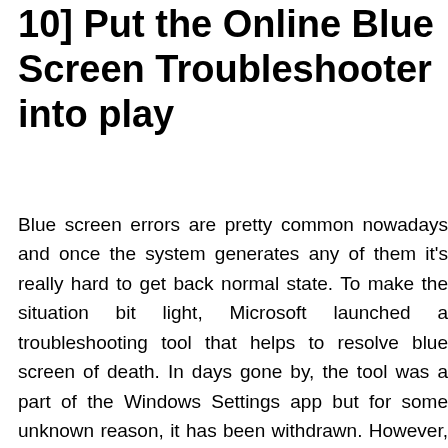10] Put the Online Blue Screen Troubleshooter into play
Blue screen errors are pretty common nowadays and once the system generates any of them it's really hard to get back normal state. To make the situation bit light, Microsoft launched a troubleshooting tool that helps to resolve blue screen of death. In days gone by, the tool was a part of the Windows Settings app but for some unknown reason, it has been withdrawn. However, you can still make use of blue